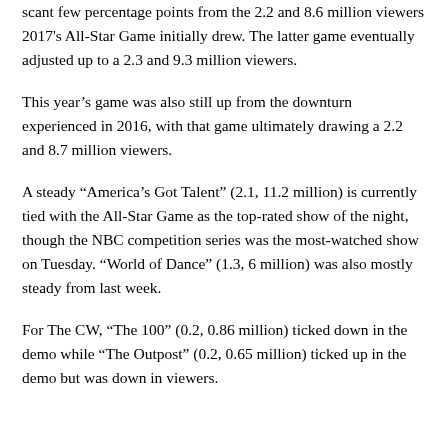scant few percentage points from the 2.2 and 8.6 million viewers 2017's All-Star Game initially drew. The latter game eventually adjusted up to a 2.3 and 9.3 million viewers.
This year's game was also still up from the downturn experienced in 2016, with that game ultimately drawing a 2.2 and 8.7 million viewers.
A steady “America’s Got Talent” (2.1, 11.2 million) is currently tied with the All-Star Game as the top-rated show of the night, though the NBC competition series was the most-watched show on Tuesday. “World of Dance” (1.3, 6 million) was also mostly steady from last week.
For The CW, “The 100” (0.2, 0.86 million) ticked down in the demo while “The Outpost” (0.2, 0.65 million) ticked up in the demo but was down in viewers.